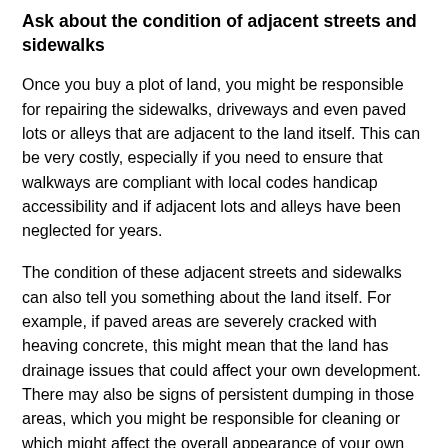Ask about the condition of adjacent streets and sidewalks
Once you buy a plot of land, you might be responsible for repairing the sidewalks, driveways and even paved lots or alleys that are adjacent to the land itself. This can be very costly, especially if you need to ensure that walkways are compliant with local codes handicap accessibility and if adjacent lots and alleys have been neglected for years.
The condition of these adjacent streets and sidewalks can also tell you something about the land itself. For example, if paved areas are severely cracked with heaving concrete, this might mean that the land has drainage issues that could affect your own development. There may also be signs of persistent dumping in those areas, which you might be responsible for cleaning or which might affect the overall appearance of your own development.